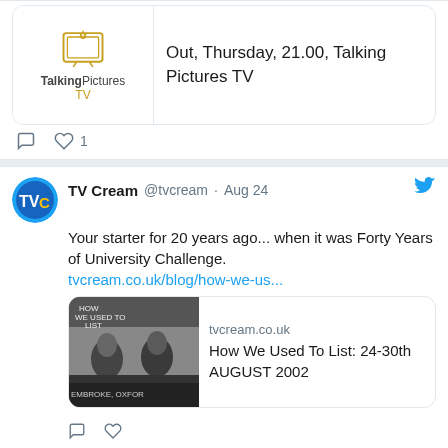[Figure (screenshot): Partial tweet showing Talking Pictures TV media card with logo and text 'Out, Thursday, 21.00, Talking Pictures TV', with comment and like (1) action icons below]
[Figure (screenshot): Tweet from TV Cream @tvcream Aug 24: 'Your starter for 20 years ago... when it was Forty Years of University Challenge.' with link tvcream.co.uk/blog/how-we-us... and a link card showing a black and white University Challenge photo with title 'How We Used To List: 24-30th AUGUST 2002' from tvcream.co.uk]
[Figure (screenshot): Partial tweet from TV Cream @tvcream Aug 24: 'It's the #CREAMGUIDE PICK OF THE DAY! tvcream.co.uk/creamguide/the...' with a partial dark media card below]